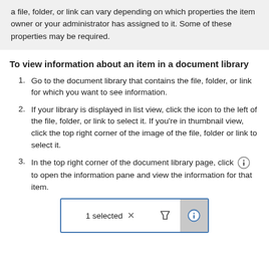a file, folder, or link can vary depending on which properties the item owner or your administrator has assigned to it. Some of these properties may be required.
To view information about an item in a document library
1. Go to the document library that contains the file, folder, or link for which you want to see information.
2. If your library is displayed in list view, click the icon to the left of the file, folder, or link to select it. If you're in thumbnail view, click the top right corner of the image of the file, folder or link to select it.
3. In the top right corner of the document library page, click [info icon] to open the information pane and view the information for that item.
[Figure (screenshot): Toolbar showing '1 selected' text with X close button, filter funnel icon, and info (i) circle icon on a gray background on the right.]